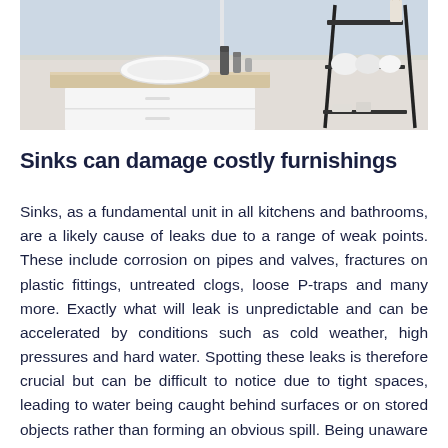[Figure (photo): A modern bathroom vanity with a white vessel sink on a wooden countertop, bathroom accessories including dark bottles, and a black ladder-style shelf with white towels and a diffuser, photographed against a window background.]
Sinks can damage costly furnishings
Sinks, as a fundamental unit in all kitchens and bathrooms, are a likely cause of leaks due to a range of weak points. These include corrosion on pipes and valves, fractures on plastic fittings, untreated clogs, loose P-traps and many more. Exactly what will leak is unpredictable and can be accelerated by conditions such as cold weather, high pressures and hard water. Spotting these leaks is therefore crucial but can be difficult to notice due to tight spaces, leading to water being caught behind surfaces or on stored objects rather than forming an obvious spill. Being unaware of small leaks can be catastrophic as drips can suddenly